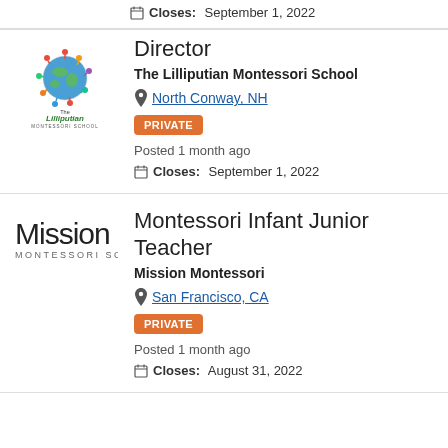Closes: September 1, 2022
[Figure (logo): The Lilliputian Montessori School logo with colorful children around a globe]
Director
The Lilliputian Montessori School
North Conway, NH
PRIVATE
Posted 1 month ago
Closes: September 1, 2022
[Figure (logo): Mission Montessori SC logo in black text]
Montessori Infant Junior Teacher
Mission Montessori
San Francisco, CA
PRIVATE
Posted 1 month ago
Closes: August 31, 2022